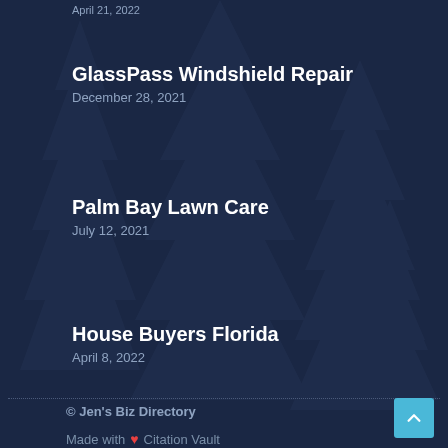April 21, 2022
GlassPass Windshield Repair
December 28, 2021
Palm Bay Lawn Care
July 12, 2021
House Buyers Florida
April 8, 2022
© Jen's Biz Directory
Made with ❤ Citation Vault